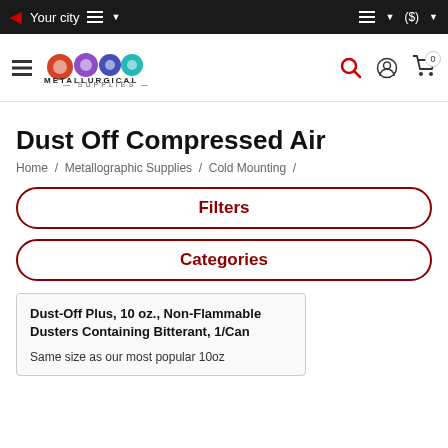Your city  (Navigation bar with hamburger, location, and account icons)
[Figure (logo): Metallurgical Supplies logo with colorful gear icons and text METALLURGICAL SUPPLIES]
Dust Off Compressed Air
Home / Metallographic Supplies / Cold Mounting /
Filters
Categories
Dust-Off Plus, 10 oz., Non-Flammable Dusters Containing Bitterant, 1/Can
Same size as our most popular 10oz